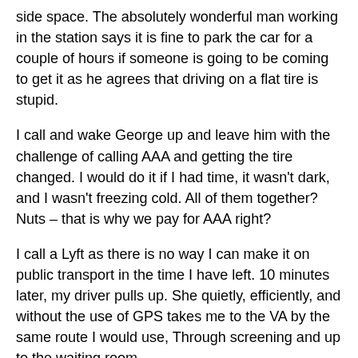side space. The absolutely wonderful man working in the station says it is fine to park the car for a couple of hours if someone is going to be coming to get it as he agrees that driving on a flat tire is stupid.
I call and wake George up and leave him with the challenge of calling AAA and getting the tire changed. I would do it if I had time, it wasn't dark, and I wasn't freezing cold. All of them together? Nuts – that is why we pay for AAA right?
I call a Lyft as there is no way I can make it on public transport in the time I have left. 10 minutes later, my driver pulls up. She quietly, efficiently, and without the use of GPS takes me to the VA by the same route I would use, Through screening and up to the waiting room.
I have my dental appointment, followed by my next appointment. I am fine, but since on the last checkup I had zero antibodies against COVID in-spite of 2